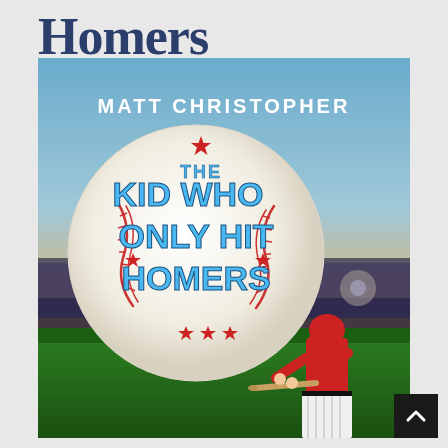Homers
[Figure (photo): Book cover of 'The Kid Who Only Hit Homers' by Matt Christopher. Shows a large baseball in the center with the book title written in bold blue 3D letters. A baseball player in a red uniform is mid-swing in the lower right. The background shows a stadium at sunset.]